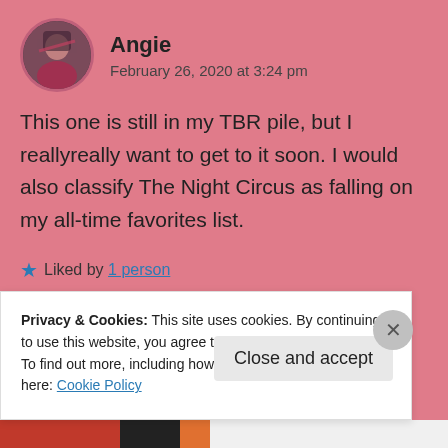Angie
February 26, 2020 at 3:24 pm
This one is still in my TBR pile, but I reallyreally want to get to it soon. I would also classify The Night Circus as falling on my all-time favorites list.
★ Liked by 1 person
↳ Reply
Privacy & Cookies: This site uses cookies. By continuing to use this website, you agree to their use.
To find out more, including how to control cookies, see here: Cookie Policy
Close and accept